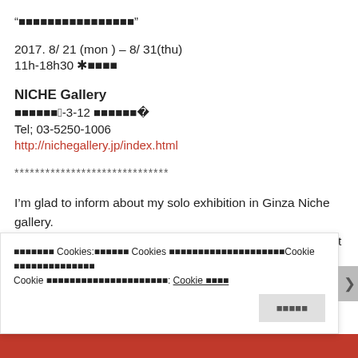“■■■■■■■■■■■■■■■■”
2017. 8/ 21 (mon ) – 8/ 31(thu)
11h-18h30 ✱■■■■
NICHE Gallery
■■■■■■■3-3-12 ■■■■■■■3F
Tel: 03-5250-1006
http://nichegallery.jp/index.html
******************************
I’m glad to inform about my solo exhibition in Ginza Niche gallery.
The last works including a triptych by s100 canvases (about 5m total wide) will be shown.
■■■■■■■ Cookies:■■■■■■ Cookies ■■■■■■■■■■■■■■■■■■■■Cookie ■■■■■■■■■■■■■■ Cookie ■■■■■■■■■■■■■■■■■■■■■: Cookie ■■■■